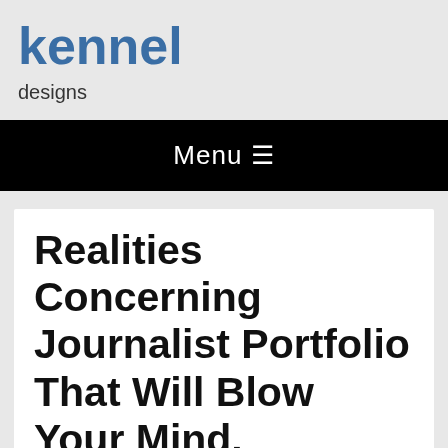kennel
designs
Menu ≡
Realities Concerning Journalist Portfolio That Will Blow Your Mind.
A Journalism portfolio is important for a job